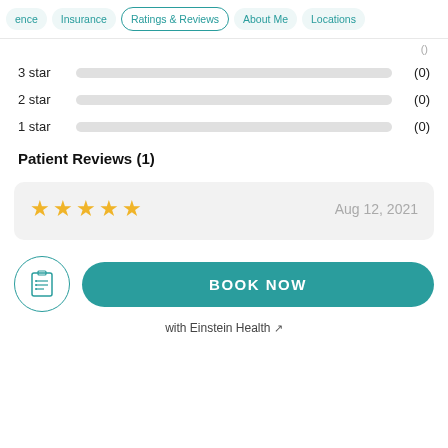ence  Insurance  Ratings & Reviews  About Me  Locations
(0) [truncated top]
3 star (0)
2 star (0)
1 star (0)
Patient Reviews (1)
[Figure (other): Review card with 4-star rating and date Aug 12, 2021]
BOOK NOW
with Einstein Health ↗